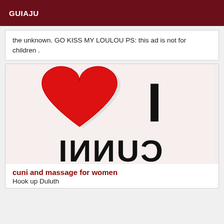GUIAJU
the unknown. GO KISS MY LOULOU PS: this ad is not for children .
[Figure (illustration): An 'I Love NY' style image with a large red heart on the left, a large bold 'I' on the upper right, and mirrored/reversed text 'CUNNI' at the bottom, all on a light pinkish-white background.]
cuni and massage for women
Hook up Duluth